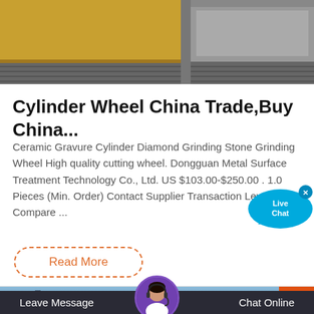[Figure (photo): Industrial machinery photo showing yellow and grey equipment with ridged/corrugated surfaces, top portion of page]
Cylinder Wheel China Trade,Buy China...
Ceramic Gravure Cylinder Diamond Grinding Stone Grinding Wheel High quality cutting wheel. Dongguan Metal Surface Treatment Technology Co., Ltd. US $103.00-$250.00 . 1.0 Pieces (Min. Order) Contact Supplier Transaction Level Add to Compare ...
[Figure (screenshot): Live Chat speech bubble overlay in blue with 'Live Chat' text and X close button]
Read More
[Figure (photo): Bottom section showing industrial site photo with blue sky, dark overlay bar, customer service avatar with headset, Leave Message and Chat Online buttons, back-to-top orange button]